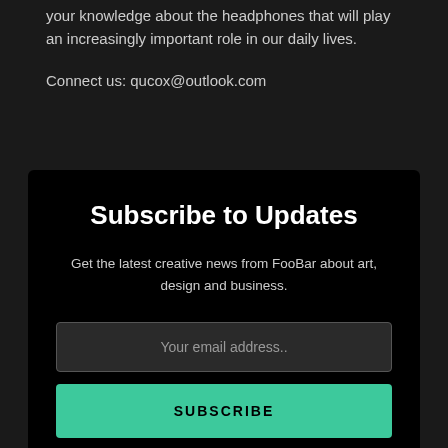your knowledge about the headphones that will play an increasingly important role in our daily lives.
Connect us: qucox@outlook.com
Subscribe to Updates
Get the latest creative news from FooBar about art, design and business.
Your email address..
SUBSCRIBE
By signing up, you agree to the our terms and our